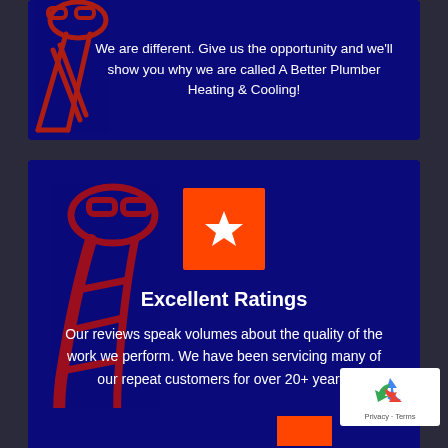We are different. Give us the opportunity and we'll show you why we are called A Better Plumber Heating & Cooling!
[Figure (illustration): Red outline illustration of a hand holding a pipe wrench on a dark navy background, with an orange star icon box overlay]
Excellent Ratings
Our reviews speak volumes about the quality of the work we perform. We have been servicing many of our repeat customers for over 20+ years!
[Figure (logo): Google reCAPTCHA badge with recycling arrow icon and Privacy - Terms text]